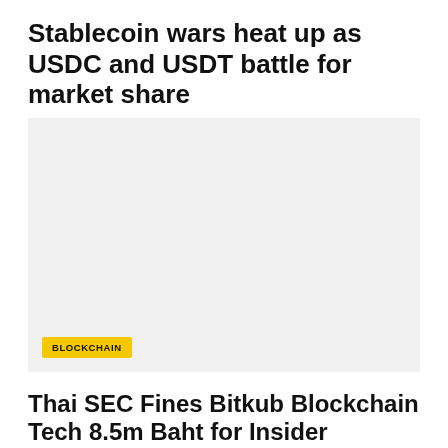Stablecoin wars heat up as USDC and USDT battle for market share
SEPTEMBER 1, 2022
[Figure (photo): Large image placeholder with light gray background and BLOCKCHAIN category tag overlay]
Thai SEC Fines Bitkub Blockchain Tech 8.5m Baht for Insider Trading...